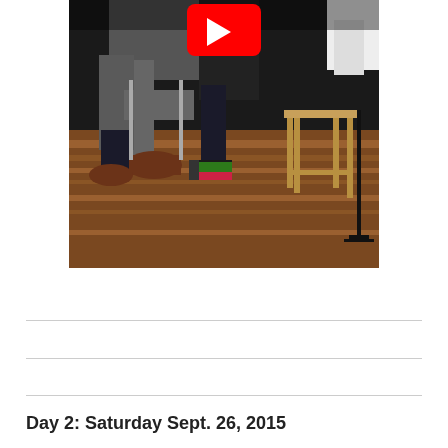[Figure (photo): Panel discussion scene showing people seated on stools/chairs on a stage with a wooden floor. A YouTube play button overlay is visible at the top center. Participants are visible from the waist/legs down, wearing suits and casual shoes. A wooden stool and microphone stand are visible on the right side.]
Day 2: Saturday Sept. 26, 2015